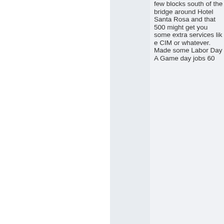few blocks south of the bridge around Hotel Santa Rosa and that 500 might get you some extra services like CIM or whatever. Made some Labor Day A Game day jobs 60